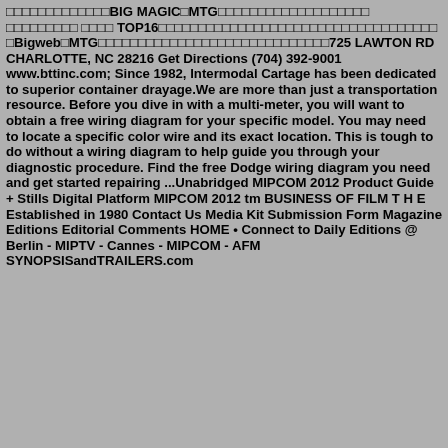□□□□□□□□□□□□□BIG MAGIC□MTG□□□□□□□□□□□□□□□□□□□ □□□□□□□□□ □□□□ TOP16□□□□□□□□□□□□□□□□□□□□□□□□□□□□□□□□□□□Bigweb□MTG□□□□□□□□□□□□□□□□□□□□□□□□□□□□□725 LAWTON RD CHARLOTTE, NC 28216 Get Directions (704) 392-9001 www.bttinc.com; Since 1982, Intermodal Cartage has been dedicated to superior container drayage.We are more than just a transportation resource. Before you dive in with a multi-meter, you will want to obtain a free wiring diagram for your specific model. You may need to locate a specific color wire and its exact location. This is tough to do without a wiring diagram to help guide you through your diagnostic procedure. Find the free Dodge wiring diagram you need and get started repairing ...Unabridged MIPCOM 2012 Product Guide + Stills Digital Platform MIPCOM 2012 tm BUSINESS OF FILM T H E Established in 1980 Contact Us Media Kit Submission Form Magazine Editions Editorial Comments HOME • Connect to Daily Editions @ Berlin - MIPTV - Cannes - MIPCOM - AFM SYNOPSISandTRAILERS.com